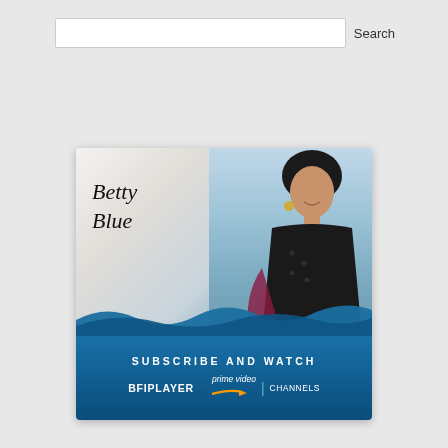Search
[Figure (illustration): Betty Blue movie promotional advertisement. Upper portion shows a woman with dark hair at a beach scene, with cursive 'Betty Blue' text overlaid on a white/grey left panel. Lower portion is a blue gradient banner reading 'SUBSCRIBE AND WATCH' with BFIPLAYER and prime video | CHANNELS logos.]